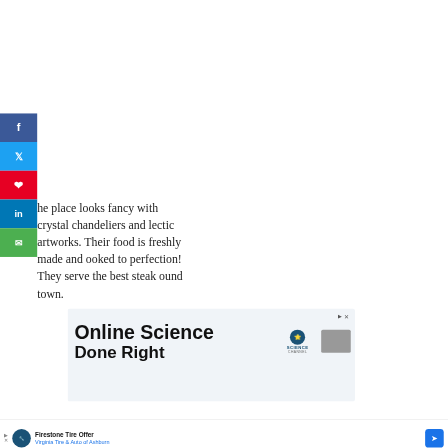[Figure (infographic): Social sharing sidebar with Facebook, Twitter, Pinterest, LinkedIn, and Email buttons]
he place looks fancy with crystal chandeliers and lectic artworks. Their food is freshly made and ooked to perfection! They serve the best steak ound town.
[Figure (screenshot): Advertisement banner for 'Online Science Done Right' with Science Channel branding]
[Figure (screenshot): Bottom notification bar: Firestone Tire Offer - Virginia Tire & Auto of Ashburn]